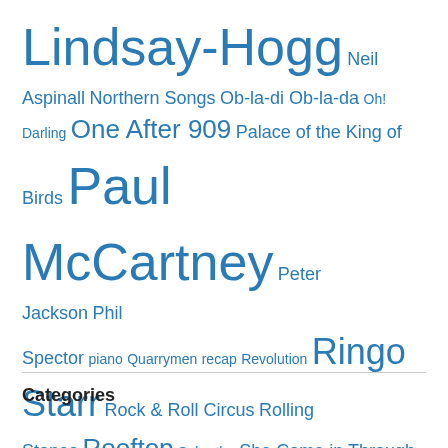[Figure (other): Tag cloud with words of varying sizes in blue, including: Lindsay-Hogg, Neil Aspinall, Northern Songs, Ob-la-di Ob-la-da, Oh! Darling, One After 909, Palace of the King of Birds, Paul McCartney, Peter Jackson, Phil Spector, piano, Quarrymen, recap, Revolution, Ringo Starr, Rock & Roll Circus, Rolling Stones, Rooftop, Sabratha, She Came in Through the Bathroom Window, Spike Milligan, spy, Sun King, television, The Band, The Long and Winding Road, The Magic Christian, The Who, Twickenham, Two of Us, Wah-Wah, White Album, Wonderwall Music, Yoko Ono]
Categories